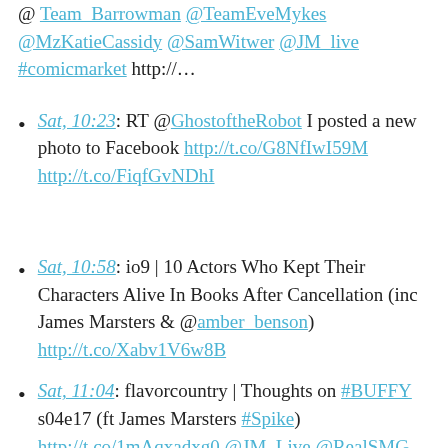@ Team_Barrowman @TeamEveMykes @MzKatieCassidy @SamWitwer @JM_live #comicmarket http://…
Sat, 10:23: RT @GhostoftheRobot I posted a new photo to Facebook http://t.co/G8NfIwI59M http://t.co/FiqfGvNDhI
Sat, 10:58: io9 | 10 Actors Who Kept Their Characters Alive In Books After Cancellation (inc James Marsters & @amber_benson) http://t.co/Xabv1V6w8B
Sat, 11:04: flavorcountry | Thoughts on #BUFFY s04e17 (ft James Marsters #Spike) http://t.co/1mAqxadxg0 @JM_Live @RealSMG